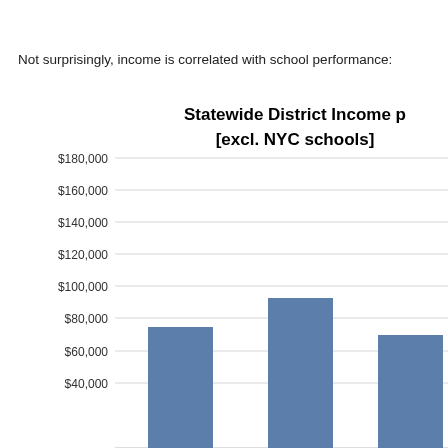Not surprisingly, income is correlated with school performance:
[Figure (bar-chart): Statewide District Income p [excl. NYC schools]]